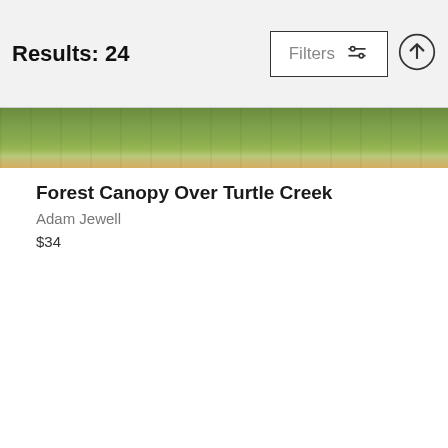Results: 24
[Figure (photo): Aerial photograph of a forest canopy over a creek, showing green tree tops and a patch of brown/golden field]
Forest Canopy Over Turtle Creek
Adam Jewell
$34